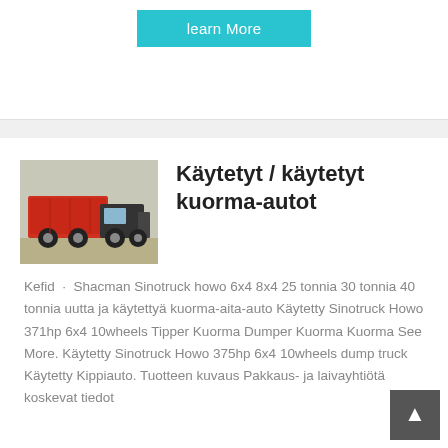[Figure (other): Cyan/teal 'learn More' button on white background]
[Figure (photo): Red dump truck / tipper truck parked outdoors]
Käytetyt / käytetyt kuorma-autot
Kefid · Shacman Sinotruck howo 6x4 8x4 25 tonnia 30 tonnia 40 tonnia uutta ja käytettyä kuorma-aita-auto Käytetty Sinotruck Howo 371hp 6x4 10wheels Tipper Kuorma Dumper Kuorma Kuorma See More. Käytetty Sinotruck Howo 375hp 6x4 10wheels dump truck Käytetty Kippiauto. Tuotteen kuvaus Pakkaus- ja laivayhtiötä koskevat tiedot